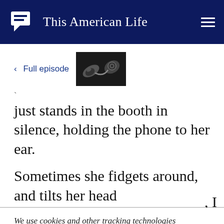This American Life
< Full episode
[Figure (photo): Black and white photo of an old telephone handset]
just stands in the booth in silence, holding the phone to her ear.
Sometimes she fidgets around, and tilts her head
We use cookies and other tracking technologies to enhance your browsing experience. If you continue to use our site, you agree to the use of such cookies. For more info, see our privacy policy.
walks out.